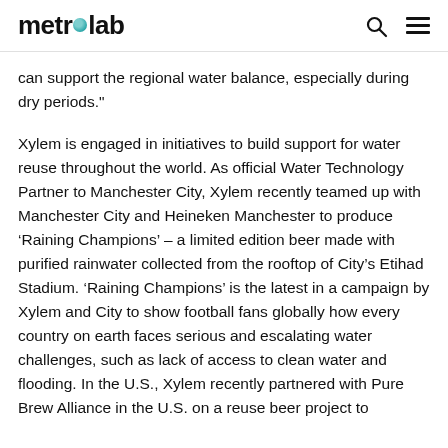metrolab
can support the regional water balance, especially during dry periods."
Xylem is engaged in initiatives to build support for water reuse throughout the world. As official Water Technology Partner to Manchester City, Xylem recently teamed up with Manchester City and Heineken Manchester to produce ‘Raining Champions’ – a limited edition beer made with purified rainwater collected from the rooftop of City’s Etihad Stadium. ‘Raining Champions’ is the latest in a campaign by Xylem and City to show football fans globally how every country on earth faces serious and escalating water challenges, such as lack of access to clean water and flooding. In the U.S., Xylem recently partnered with Pure Brew Alliance in the U.S. on a reuse beer project to